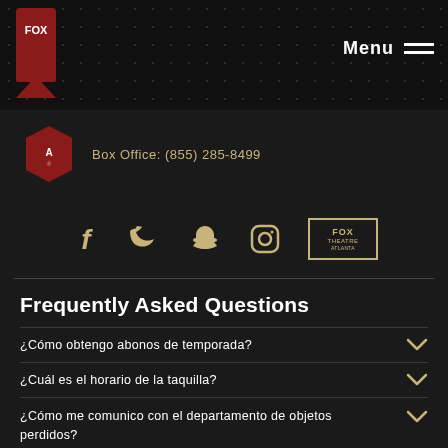FOX | Menu
Box Office: (855) 285-8499
[Figure (logo): Social media icons row: Facebook, Twitter, Snapchat, Instagram, Fox Theatre Atlanta logo badge]
Frequently Asked Questions
¿Cómo obtengo abonos de temporada?
¿Cuál es el horario de la taquilla?
¿Cómo me comunico con el departamento de objetos perdidos?
¿Dónde puedo encontrar información sobre cómo